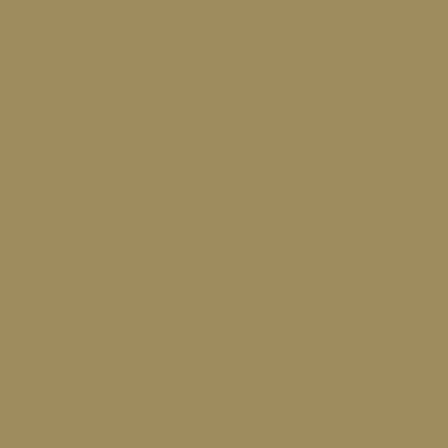Design Proposal
Many thanks to Scott Stilphen and Lo
Level Select
To choose your starting level, press 7
Level Skip
To finish your current level, press 7,7
Additional Credits:
Producer
Skruch, John